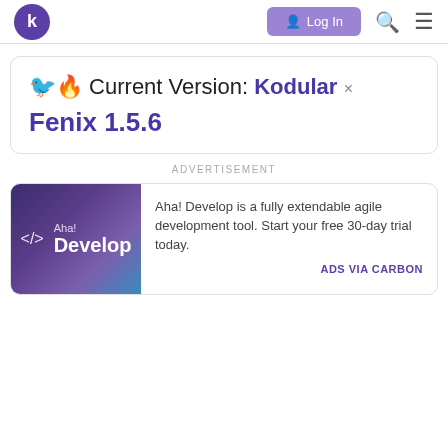k Log In
🐦🔥 Current Version: Kodular × Fenix 1.5.6
ADVERTISEMENT
[Figure (logo): Aha! Develop logo — dark purple/blue gradient background with code tag </> icon and white text 'Aha! Develop']
Aha! Develop is a fully extendable agile development tool. Start your free 30-day trial today.
ADS VIA CARBON